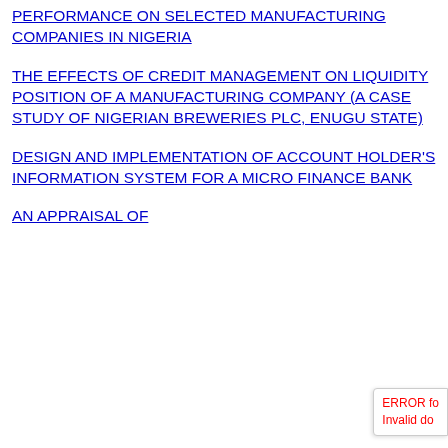PERFORMANCE ON SELECTED MANUFACTURING COMPANIES IN NIGERIA
THE EFFECTS OF CREDIT MANAGEMENT ON LIQUIDITY POSITION OF A MANUFACTURING COMPANY (A CASE STUDY OF NIGERIAN BREWERIES PLC, ENUGU STATE)
DESIGN AND IMPLEMENTATION OF ACCOUNT HOLDER'S INFORMATION SYSTEM FOR A MICRO FINANCE BANK
AN APPRAISAL OF